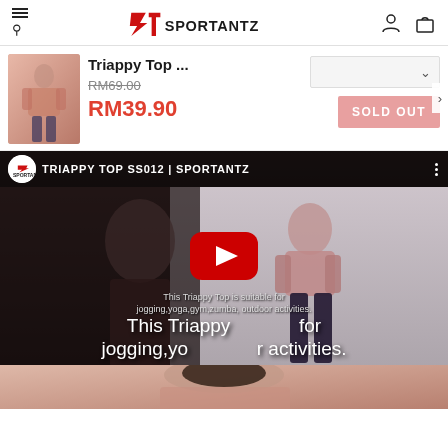Sportantz — navigation header with hamburger menu, search, logo, user icon, cart icon
[Figure (screenshot): Product listing: Triappy Top with thumbnail image of pink/rose top, original price RM69.00 struck through, sale price RM39.90 in red, size/color dropdown selector, SOLD OUT button]
[Figure (screenshot): YouTube video embed thumbnail: TRIAPPY TOP SS012 | SPORTANTZ — shows woman in pink top and black leggings, red YouTube play button in center, overlay text: This Triappy Top is suitable for jogging,yoga,gym,zumba, outdoor activities.]
[Figure (photo): Partial photo of model wearing pink top, cropped at bottom of page, showing shoulders/hair]